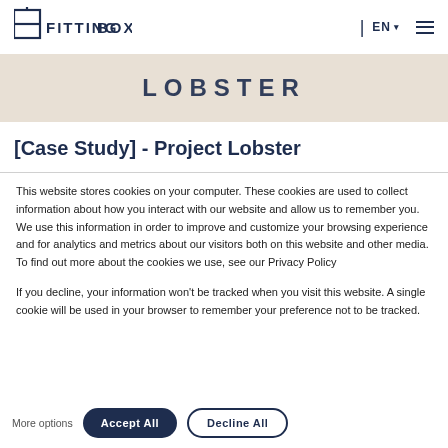FITTINGBOX | EN ☰
[Figure (logo): FittingBox logo with stylized box icon and bold text FITTINGBOX]
LOBSTER
[Case Study] - Project Lobster
This website stores cookies on your computer. These cookies are used to collect information about how you interact with our website and allow us to remember you. We use this information in order to improve and customize your browsing experience and for analytics and metrics about our visitors both on this website and other media. To find out more about the cookies we use, see our Privacy Policy
If you decline, your information won't be tracked when you visit this website. A single cookie will be used in your browser to remember your preference not to be tracked.
More options | Accept All | Decline All